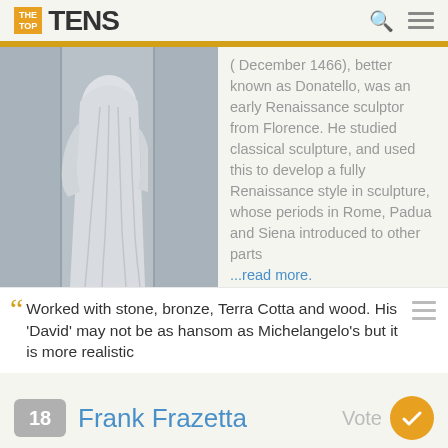THE TOP TENS
[Figure (photo): White marble statue of Donatello, a Renaissance sculptor, shown from torso down wearing draped robes]
(December 1466), better known as Donatello, was an early Renaissance sculptor from Florence. He studied classical sculpture, and used this to develop a fully Renaissance style in sculpture, whose periods in Rome, Padua and Siena introduced to other parts ...read more.
Worked with stone, bronze, Terra Cotta and wood. His 'David' may not be as hansom as Michelangelo's but it is more realistic
18 Frank Frazetta Vote